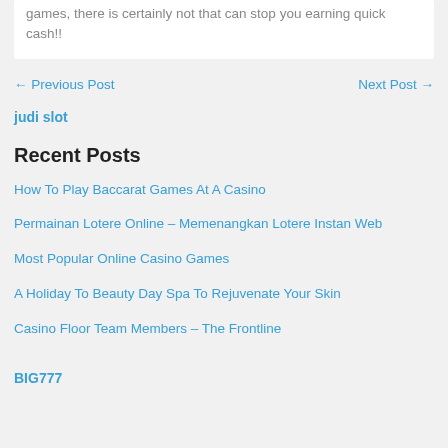games, there is certainly not that can stop you earning quick cash!!
← Previous Post
Next Post →
judi slot
Recent Posts
How To Play Baccarat Games At A Casino
Permainan Lotere Online – Memenangkan Lotere Instan Web
Most Popular Online Casino Games
A Holiday To Beauty Day Spa To Rejuvenate Your Skin
Casino Floor Team Members – The Frontline
BIG777